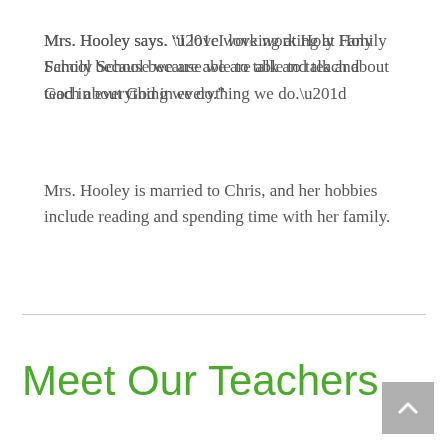Mrs. Hooley says. “I love working at Holy Family School because we are able to talk and teach about God in everything we do.”
Mrs. Hooley is married to Chris, and her hobbies include reading and spending time with her family.
Meet Our Teachers